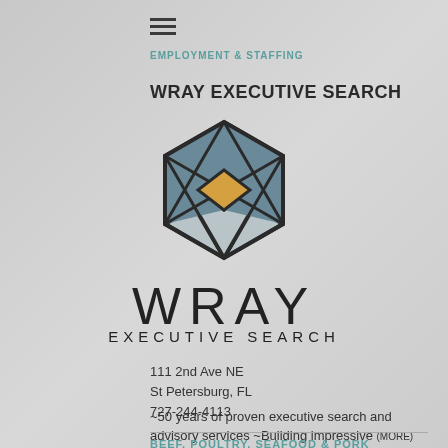EMPLOYMENT & STAFFING
WRAY EXECUTIVE SEARCH
[Figure (logo): Wray Executive Search logo: geometric hexagon shape composed of blue-grey triangular facets with a gold/amber diamond in the center, outlined in dark charcoal. Below the hexagon: 'WRAY' in large spaced light-weight capitals and 'EXECUTIVE SEARCH' in smaller spaced capitals.]
111 2nd Ave NE
St Petersburg, FL
727-244-4113
~50 years of proven executive search and advisory services ~Building impressive (MORE)
BEEF, POULTRY, SEAFOOD & PORK